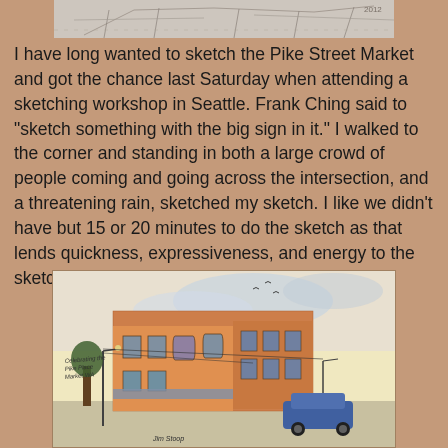[Figure (illustration): Partial sketch/drawing visible at top of page, appears to be a loose architectural or street sketch in pencil/pen]
I have long wanted to sketch the Pike Street Market and got the chance last Saturday when attending a sketching workshop in Seattle. Frank Ching said to "sketch something with the big sign in it."  I walked to the corner and standing in both a large crowd of people coming and going across the intersection, and a threatening rain, sketched my sketch.  I like we didn't have but 15 or 20 minutes to do the sketch as that lends quickness, expressiveness, and energy to the sketch.
[Figure (illustration): Watercolor and ink sketch of a brick corner building (Pike Place Market area), with handwritten text 'Celebrating the Pike Place Market WA' in the lower left, birds in sky, cars on street, rendered in warm orange/brown tones with blue-grey sky. Signed 'Jim Stoop' at bottom.]